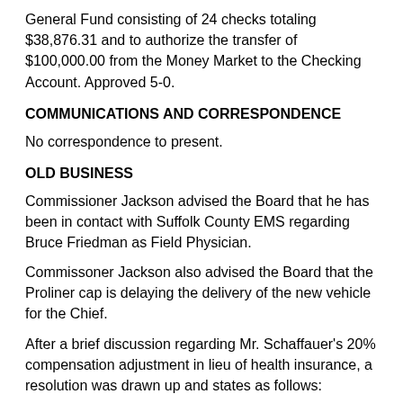General Fund consisting of 24 checks totaling $38,876.31 and to authorize the transfer of $100,000.00 from the Money Market to the Checking Account. Approved 5-0.
COMMUNICATIONS AND CORRESPONDENCE
No correspondence to present.
OLD BUSINESS
Commissioner Jackson advised the Board that he has been in contact with Suffolk County EMS regarding Bruce Friedman as Field Physician.
Commissoner Jackson also advised the Board that the Proliner cap is delaying the delivery of the new vehicle for the Chief.
After a brief discussion regarding Mr. Schaffauer's 20% compensation adjustment in lieu of health insurance, a resolution was drawn up and states as follows:
2022-23. The Board of Fire Commissioners of the East Quogue Fire District hereby resolve to increase [obscured] uer's,hourly pay